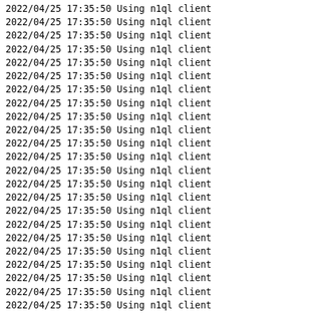2022/04/25 17:35:50 Using n1ql client
2022/04/25 17:35:50 Using n1ql client
2022/04/25 17:35:50 Using n1ql client
2022/04/25 17:35:50 Using n1ql client
2022/04/25 17:35:50 Using n1ql client
2022/04/25 17:35:50 Using n1ql client
2022/04/25 17:35:50 Using n1ql client
2022/04/25 17:35:50 Using n1ql client
2022/04/25 17:35:50 Using n1ql client
2022/04/25 17:35:50 Using n1ql client
2022/04/25 17:35:50 Using n1ql client
2022/04/25 17:35:50 Using n1ql client
2022/04/25 17:35:50 Using n1ql client
2022/04/25 17:35:50 Using n1ql client
2022/04/25 17:35:50 Using n1ql client
2022/04/25 17:35:50 Using n1ql client
2022/04/25 17:35:50 Using n1ql client
2022/04/25 17:35:50 Using n1ql client
2022/04/25 17:35:50 Using n1ql client
2022/04/25 17:35:50 Using n1ql client
2022/04/25 17:35:50 Using n1ql client
2022/04/25 17:35:50 Using n1ql client
2022/04/25 17:35:50 Using n1ql client
--- PASS: TestAlterIndexIncrReplica (117.76s)
=== RUN   TestAlterIndexDecrReplica
2022/04/25 17:35:50 In TestAlterIndexDecrReplica()
2022/04/25 17:35:50 This test creates an index with two r
2022/04/25 17:35:50 In DropAllSecondaryIndexes()
2022/04/25 17:35:50 Index found:  idx_1
2022/04/25 17:35:51 Dropped index idx_1